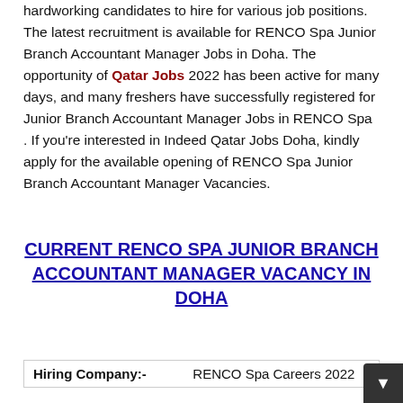hardworking candidates to hire for various job positions. The latest recruitment is available for RENCO Spa Junior Branch Accountant Manager Jobs in Doha. The opportunity of Qatar Jobs 2022 has been active for many days, and many freshers have successfully registered for Junior Branch Accountant Manager Jobs in RENCO Spa. If you're interested in Indeed Qatar Jobs Doha, kindly apply for the available opening of RENCO Spa Junior Branch Accountant Manager Vacancies.
CURRENT RENCO SPA JUNIOR BRANCH ACCOUNTANT MANAGER VACANCY IN DOHA
| Hiring Company:- | RENCO Spa Careers 2022 |